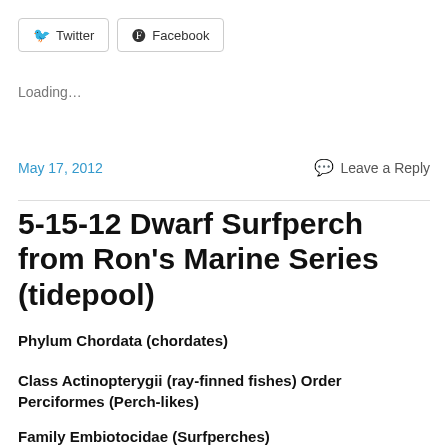[Figure (other): Twitter and Facebook social share buttons]
Loading...
May 17, 2012
Leave a Reply
5-15-12 Dwarf Surfperch from Ron's Marine Series (tidepool)
Phylum Chordata (chordates)
Class Actinopterygii (ray-finned fishes) Order Perciformes (Perch-likes)
Family Embiotocidae (Surfperches)